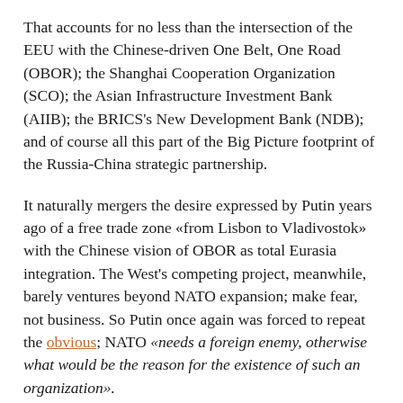That accounts for no less than the intersection of the EEU with the Chinese-driven One Belt, One Road (OBOR); the Shanghai Cooperation Organization (SCO); the Asian Infrastructure Investment Bank (AIIB); the BRICS's New Development Bank (NDB); and of course all this part of the Big Picture footprint of the Russia-China strategic partnership.
It naturally mergers the desire expressed by Putin years ago of a free trade zone «from Lisbon to Vladivostok» with the Chinese vision of OBOR as total Eurasia integration. The West's competing project, meanwhile, barely ventures beyond NATO expansion; make fear, not business. So Putin once again was forced to repeat the obvious; NATO «needs a foreign enemy, otherwise what would be the reason for the existence of such an organization».
The facts are on the table concerning the relentless advance of a Beltway-deployed Hybrid War against Russia. Apart, and beyond, an eventual Russian counterpunch, what really